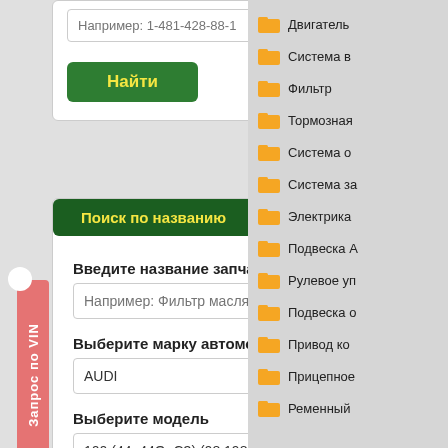Например: 1-481-428-88-1
Найти
Поиск по названию
Введите название запчасти
Например: Фильтр масляный
Выберите марку автомобиля
AUDI
Выберите модель
100 (44, 44Q, C3) (08.1982 - 07.199...
Выберите тип
2.2 Turbo (бензин, седан, МС)
Двигатель
Система в
Фильтр
Тормозная
Система о
Система за
Электрика
Подвеска А
Рулевое уп
Подвеска о
Привод ко
Прицепное
Ременный